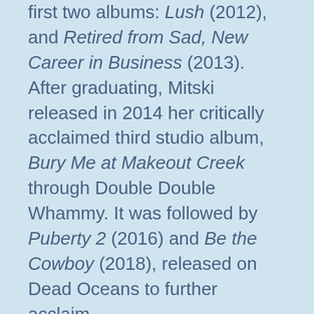first two albums: Lush (2012), and Retired from Sad, New Career in Business (2013). After graduating, Mitski released in 2014 her critically acclaimed third studio album, Bury Me at Makeout Creek through Double Double Whammy. It was followed by Puberty 2 (2016) and Be the Cowboy (2018), released on Dead Oceans to further acclaim.
Mixture:
Mitski reflects her cross-cultural identity as "half Japanese, half American but not fully either," a feeling that is often reflected in her music, which occasionally discusses